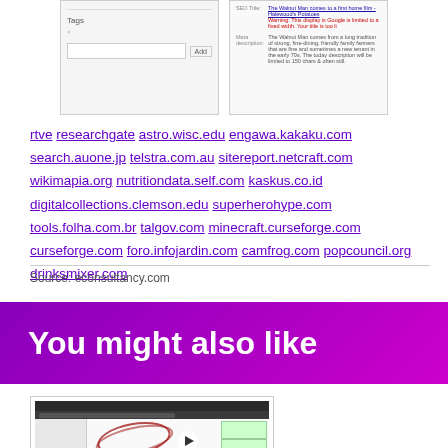[Figure (screenshot): Two UI screenshot panels: Tags input panel with Add button, and SEO preview panel with warning text]
rtve researchgate astro.wisc.edu engawa.kakaku.com search.auone.jp telstra.com.au sitereport.netcraft.com wikimapia.org nutritiondata.self.com kaskus.co.id digitalcollections.clemson.edu superherohype.com tools.folha.com.br talgov.com minecraft.curseforge.com curseforge.com foro.infojardin.com camfrog.com popcouncil.org drinksmixer.com
Source: econsultancy.com
You might also like
[Figure (screenshot): Screenshot of a WordPress SEO video tutorial page with play button overlay]
On Page SEO WordPress | Video Tutorial about optimizing